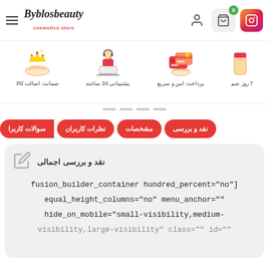Byblosbeauty cosmetics store - header with Instagram, cart, user icons and hamburger menu
[Figure (infographic): Feature icons strip: ضمانت اصالت کالا (product authenticity guarantee), پشتیبانی 24 ساعته (24-hour support), پرداخت امن و سریع (safe and fast payment), 7 روز ضم (7-day warranty)]
نقد و بررسی | مشخصات | نظرات کاربران | سوالات کاربرا
نقد و بررسی اجمالی
fusion_builder_container hundred_percent="no"] equal_height_columns="no" menu_anchor="" hide_on_mobile="small-visibility,medium- visibility,large-visibility" class="" id=""